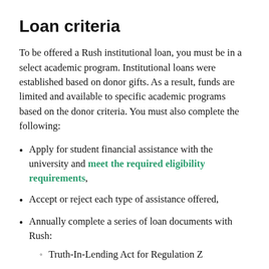Loan criteria
To be offered a Rush institutional loan, you must be in a select academic program. Institutional loans were established based on donor gifts. As a result, funds are limited and available to specific academic programs based on the donor criteria. You must also complete the following:
Apply for student financial assistance with the university and meet the required eligibility requirements,
Accept or reject each type of assistance offered,
Annually complete a series of loan documents with Rush:
Truth-In-Lending Act for Regulation Z